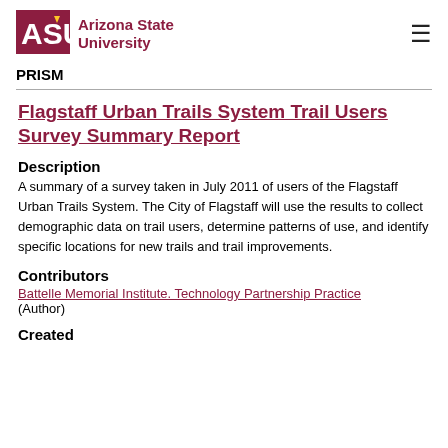ASU Arizona State University | PRISM
Flagstaff Urban Trails System Trail Users Survey Summary Report
Description
A summary of a survey taken in July 2011 of users of the Flagstaff Urban Trails System. The City of Flagstaff will use the results to collect demographic data on trail users, determine patterns of use, and identify specific locations for new trails and trail improvements.
Contributors
Battelle Memorial Institute. Technology Partnership Practice (Author)
Created